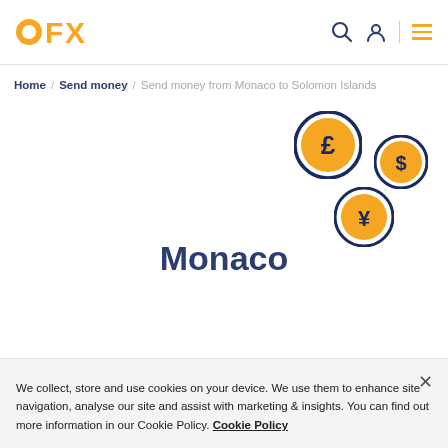OFX
Home / Send money / Send money from Monaco to Solomon Islands
[Figure (illustration): Three currency coin icons: pound sterling (£), dollar ($), and yen (¥), each displayed as orange coins with dark navy circular borders, floating on white background]
We collect, store and use cookies on your device. We use them to enhance site navigation, analyse our site and assist with marketing & insights. You can find out more information in our Cookie Policy. Cookie Policy
Monaco